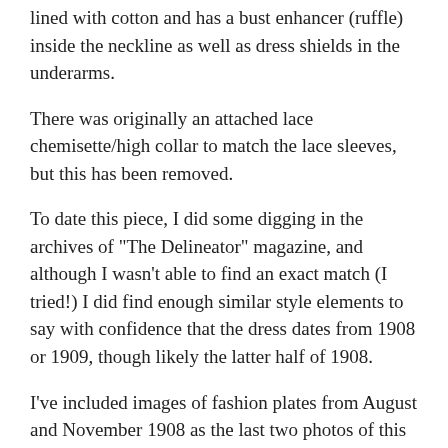lined with cotton and has a bust enhancer (ruffle) inside the neckline as well as dress shields in the underarms.
There was originally an attached lace chemisette/high collar to match the lace sleeves, but this has been removed.
To date this piece, I did some digging in the archives of "The Delineator" magazine, and although I wasn't able to find an exact match (I tried!) I did find enough similar style elements to say with confidence that the dress dates from 1908 or 1909, though likely the latter half of 1908.
I've included images of fashion plates from August and November 1908 as the last two photos of this listing.
+++ Measurements +++
30" bust